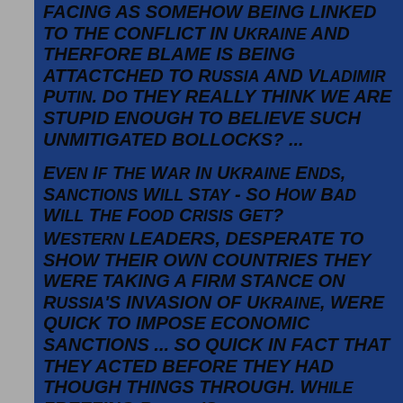FACING AS SOMEHOW BEING LINKED TO THE CONFLICT IN UKRAINE AND THERFORE BLAME IS BEING ATTACTCHED TO RUSSIA AND VLADIMIR PUTIN. DO THEY REALLY THINK WE ARE STUPID ENOUGH TO BELIEVE SUCH UNMITIGATED BOLLOCKS? ...
EVEN IF THE WAR IN UKRAINE ENDS, SANCTIONS WILL STAY - SO HOW BAD WILL THE FOOD CRISIS GET?
WESTERN LEADERS, DESPERATE TO SHOW THEIR OWN COUNTRIES THEY WERE TAKING A FIRM STANCE ON RUSSIA'S INVASION OF UKRAINE, WERE QUICK TO IMPOSE ECONOMIC SANCTIONS ... SO QUICK IN FACT THAT THEY ACTED BEFORE THEY HAD THOUGH THINGS THROUGH. WHILE FREEZING RUSSIA'S...